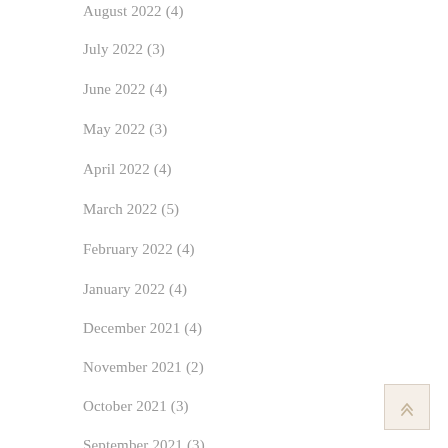August 2022 (4)
July 2022 (3)
June 2022 (4)
May 2022 (3)
April 2022 (4)
March 2022 (5)
February 2022 (4)
January 2022 (4)
December 2021 (4)
November 2021 (2)
October 2021 (3)
September 2021 (3)